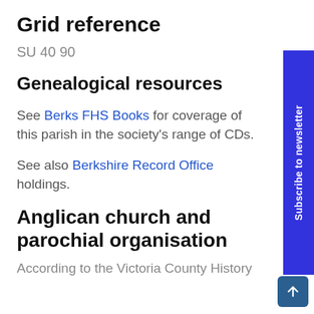Grid reference
SU 40 90
Genealogical resources
See Berks FHS Books for coverage of this parish in the society's range of CDs.
See also Berkshire Record Office holdings.
Anglican church and parochial organisation
According to the Victoria County History